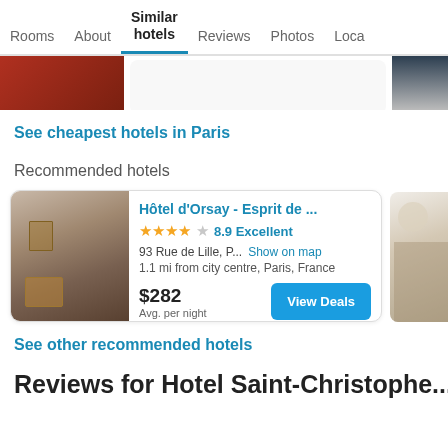Rooms  About  Similar hotels  Reviews  Photos  Loca...
[Figure (photo): Partial hotel room photo on the left, white center space, partial hotel exterior on the right]
See cheapest hotels in Paris
Recommended hotels
[Figure (photo): Hotel d'Orsay room with wooden beams and portrait painting]
Hôtel d'Orsay - Esprit de ...
4 stars  8.9 Excellent
93 Rue de Lille, P...  Show on map
1.1 mi from city centre, Paris, France
$282
Avg. per night
View Deals
See other recommended hotels
Reviews for Hotel Saint-Christophe...